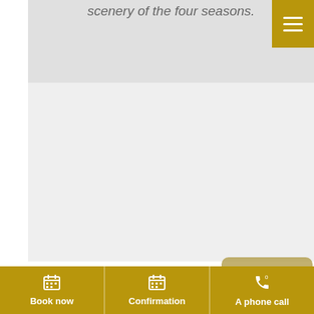[Figure (screenshot): Top portion of a hotel/onsen website showing a gray image placeholder area with partial italic text reading 'scenery of the four seasons.']
scenery of the four seasons.
[Figure (other): Gold/ochre hamburger menu button in top right corner with three white horizontal lines]
[Figure (photo): Large light gray content area representing a photo of an onsen bath facility]
A large public bath is also a hot spring flowing from the source 'Yuki Onsen'.
The bath is...
[Figure (other): Semi-transparent gold 'page up' button with upward arrow]
Book now | Confirmation | A phone call